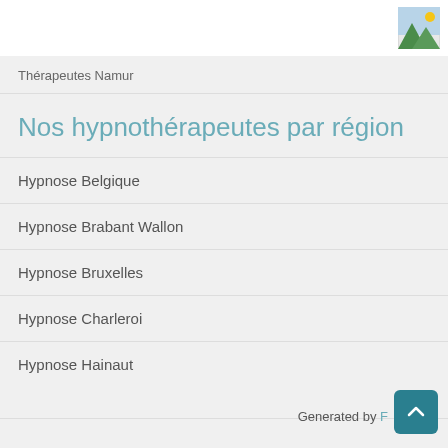[Figure (illustration): Placeholder image icon showing sun and mountains landscape]
Thérapeutes Namur
Nos hypnothérapeutes par région
Hypnose Belgique
Hypnose Brabant Wallon
Hypnose Bruxelles
Hypnose Charleroi
Hypnose Hainaut
Generated by F…